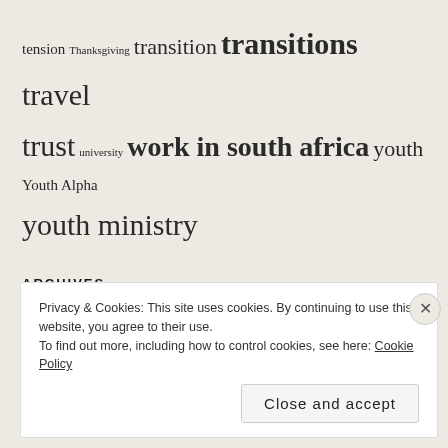tension Thanksgiving transition transitions travel trust university work in south africa youth Youth Alpha youth ministry
ARCHIVES
June 2017
April 2017
Privacy & Cookies: This site uses cookies. By continuing to use this website, you agree to their use. To find out more, including how to control cookies, see here: Cookie Policy
Close and accept